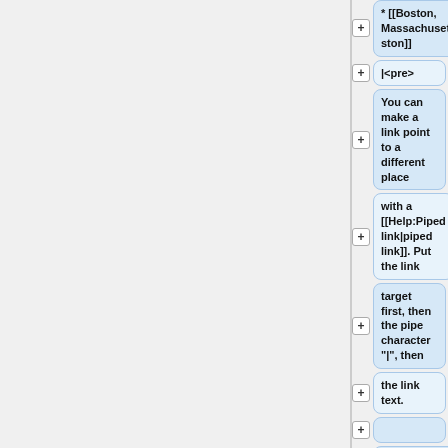* [[Boston, Massachusetts|Boston]]
|<pre>
You can make a link point to a different place
with a [[Help:Piped link|piped link]]. Put the link
target first, then the pipe character "|", then
the link text.
* [[Help:Link|About Links]]
* [[List of cities by country#Morocco|